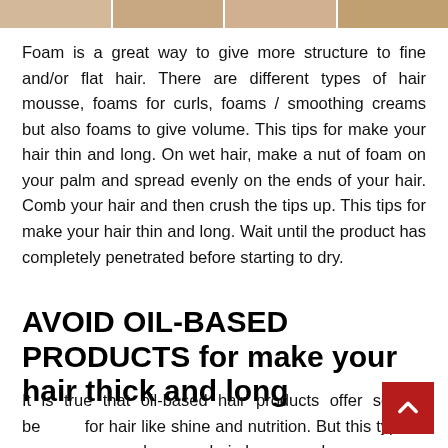[Figure (photo): Strip of photos at the top of the page showing people's hair/faces]
Foam is a great way to give more structure to fine and/or flat hair. There are different types of hair mousse, foams for curls, foams / smoothing creams but also foams to give volume. This tips for make your hair thin and long. On wet hair, make a nut of foam on your palm and spread evenly on the ends of your hair. Comb your hair and then crush the tips up. This tips for make your hair thin and long. Wait until the product has completely penetrated before starting to dry.
AVOID OIL-BASED PRODUCTS for make your hair thick and long
It is true that oil-based hair products offer several benefits for hair like shine and nutrition. But this type of product can make your hair heavy and very greasy. This option is,